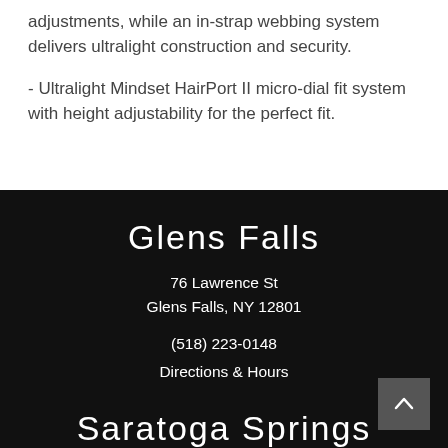adjustments, while an in-strap webbing system delivers ultralight construction and security.
- Ultralight Mindset HairPort II micro-dial fit system with height adjustability for the perfect fit.
Glens Falls
76 Lawrence St
Glens Falls, NY 12801
(518) 223-0148
Directions & Hours
Saratoga Springs